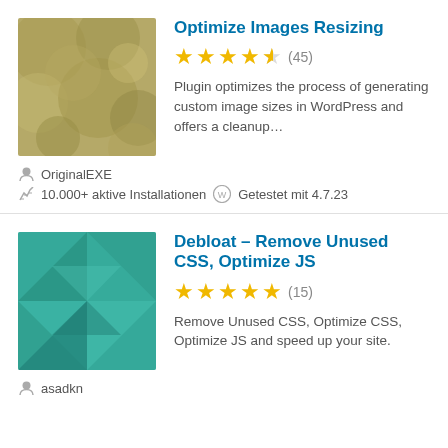[Figure (illustration): Plugin thumbnail with olive/tan geometric pattern for Optimize Images Resizing]
Optimize Images Resizing
★★★★½ (45)
Plugin optimizes the process of generating custom image sizes in WordPress and offers a cleanup…
OriginalEXE
10.000+ aktive Installationen   Getestet mit 4.7.23
[Figure (illustration): Plugin thumbnail with teal geometric diamond pattern for Debloat plugin]
Debloat – Remove Unused CSS, Optimize JS
★★★★★ (15)
Remove Unused CSS, Optimize CSS, Optimize JS and speed up your site.
asadkn